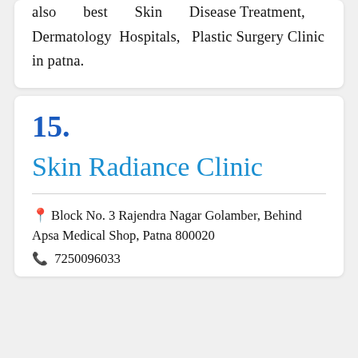also best Skin Disease Treatment, Dermatology Hospitals, Plastic Surgery Clinic in patna.
15.
Skin Radiance Clinic
Block No. 3 Rajendra Nagar Golamber, Behind Apsa Medical Shop, Patna 800020
7250096033